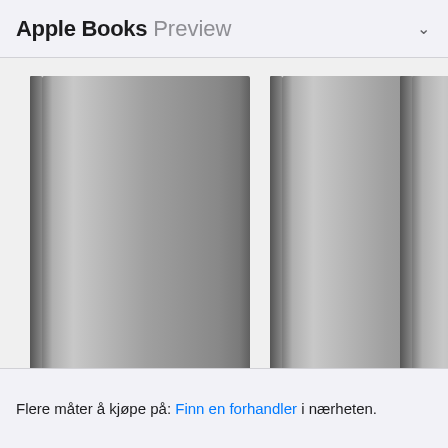Apple Books Preview
[Figure (illustration): Three book covers shown as grey gradient placeholders in a horizontal scroll view. Books shown: Gravity (2018), Finding Dawn (2016), and a third partially visible book starting with 'Co' from year '201'.]
Gravity
2018
Finding Dawn
2016
Co
201
Flere måter å kjøpe på: Finn en forhandler i nærheten.